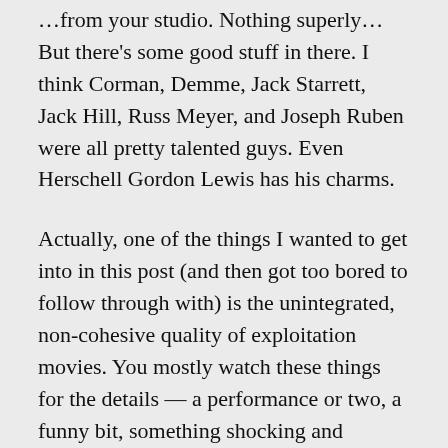…from your studio. Nothing superly… But there's some good stuff in there. I think Corman, Demme, Jack Starrett, Jack Hill, Russ Meyer, and Joseph Ruben were all pretty talented guys. Even Herschell Gordon Lewis has his charms.
Actually, one of the things I wanted to get into in this post (and then got too bored to follow through with) is the unintegrated, non-cohesive quality of exploitation movies. You mostly watch these things for the details — a performance or two, a funny bit, something shocking and bloody, some titties, etc. And that's what you remember and talk about later. I take that to be essential to Tarantino's grounding: as a